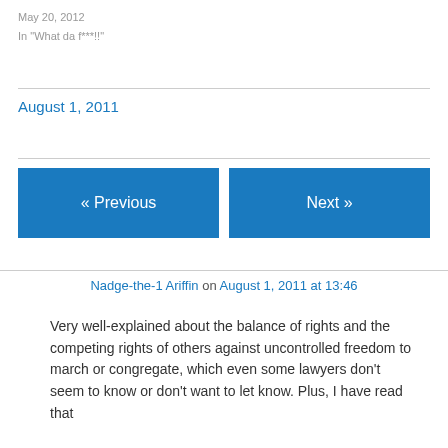May 20, 2012
In "What da f***!!"
August 1, 2011
« Previous
Next »
Nadge-the-1 Ariffin on August 1, 2011 at 13:46
Very well-explained about the balance of rights and the competing rights of others against uncontrolled freedom to march or congregate, which even some lawyers don't seem to know or don't want to let know. Plus, I have read that